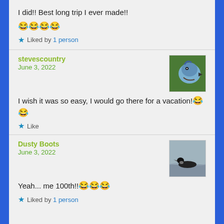I did!! Best long trip I ever made!! 😂😂😂😂
★ Liked by 1 person
stevescountry
June 3, 2022
I wish it was so easy, I would go there for a vacation!😂😂
★ Like
[Figure (photo): Avatar photo of a blue jay bird head close-up]
Dusty Boots
June 3, 2022
Yeah... me 100th!!😂😂😂
★ Liked by 1 person
[Figure (photo): Avatar photo of a loon bird swimming on water]